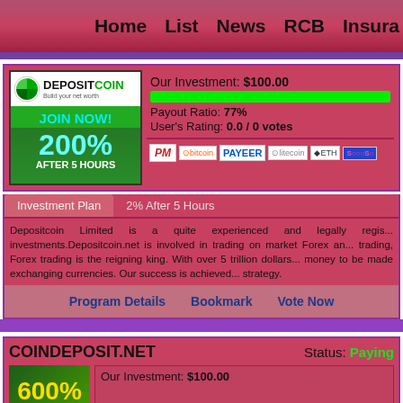Home  List  News  RCB  Insura
Our Investment: $100.00
Payout Ratio: 77%
User's Rating: 0.0 / 0 votes
[Figure (logo): DepositCoin logo with JOIN NOW! 200% AFTER 5 HOURS]
[Figure (infographic): Payment icons: PM, bitcoin, PAYEER, litecoin, ETH, and more]
Investment Plan   2% After 5 Hours
Depositcoin Limited is a quite experienced and legally regis... investments.Depositcoin.net is involved in trading on market Forex an... trading, Forex trading is the reigning king. With over 5 trillion dollars... money to be made exchanging currencies. Our success is achieved... strategy.
Program Details   Bookmark   Vote Now
COINDEPOSIT.NET
Status: Paying
Our Investment: $100.00